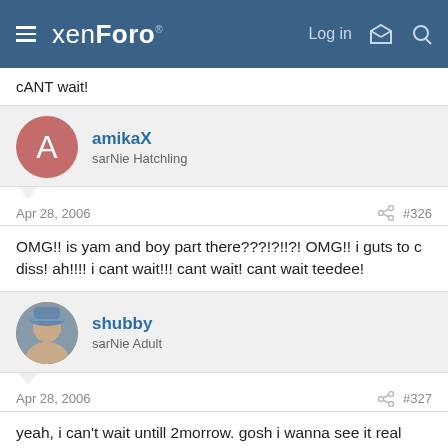xenForo — Log in
cANT wait!
amikaX
sarNie Hatchling
Apr 28, 2006  #326
OMG!! is yam and boy part there???!?!!?! OMG!! i guts to c diss! ah!!!! i cant wait!!! cant wait! cant wait teedee!
shubby
sarNie Adult
Apr 28, 2006  #327
yeah, i can't wait untill 2morrow. gosh i wanna see it real bad. looking forward to see them all....